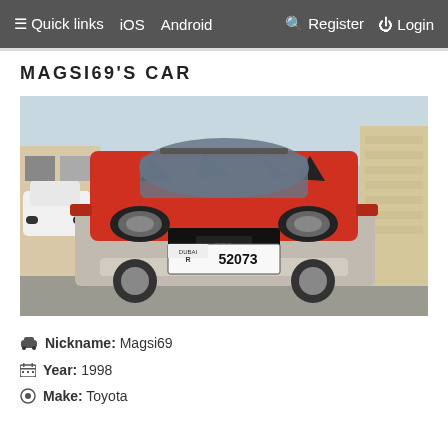Quick links  iOS  Android  Register  Login
MAGSI69'S CAR
[Figure (photo): Front view of a red Toyota RAV4 with TRD styling, license plate R 52073, parked on a street with beige buildings in background]
Nickname: Magsi69
Year: 1998
Make: Toyota